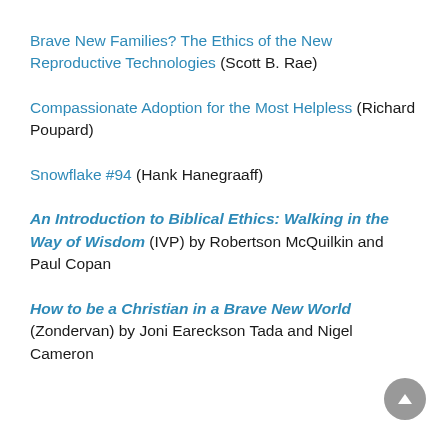Brave New Families? The Ethics of the New Reproductive Technologies (Scott B. Rae)
Compassionate Adoption for the Most Helpless (Richard Poupard)
Snowflake #94 (Hank Hanegraaff)
An Introduction to Biblical Ethics: Walking in the Way of Wisdom (IVP) by Robertson McQuilkin and Paul Copan
How to be a Christian in a Brave New World (Zondervan) by Joni Eareckson Tada and Nigel Cameron